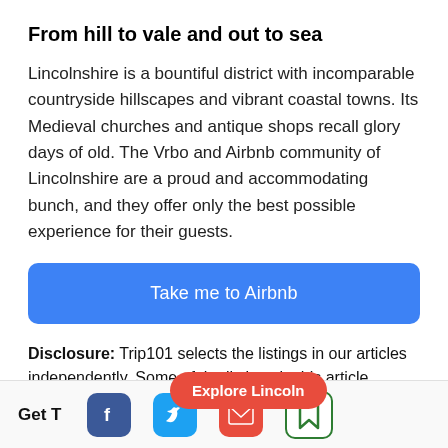From hill to vale and out to sea
Lincolnshire is a bountiful district with incomparable countryside hillscapes and vibrant coastal towns. Its Medieval churches and antique shops recall glory days of old. The Vrbo and Airbnb community of Lincolnshire are a proud and accommodating bunch, and they offer only the best possible experience for their guests.
[Figure (other): Blue button reading 'Take me to Airbnb']
Disclosure: Trip101 selects the listings in our articles independently. Some of the listings in this article contain affiliate links.
[Figure (other): Red pill-shaped button reading 'Explore Lincoln']
Get T [Facebook icon] [Twitter icon] [Email icon] [Bookmark icon]